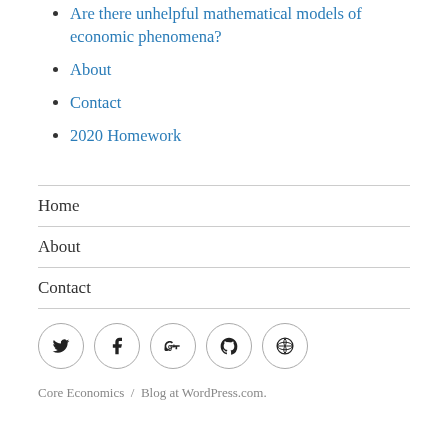Are there unhelpful mathematical models of economic phenomena?
About
Contact
2020 Homework
Home
About
Contact
[Figure (other): Row of five social media icon circles: Twitter, Facebook, Google+, GitHub, WordPress]
Core Economics  /  Blog at WordPress.com.